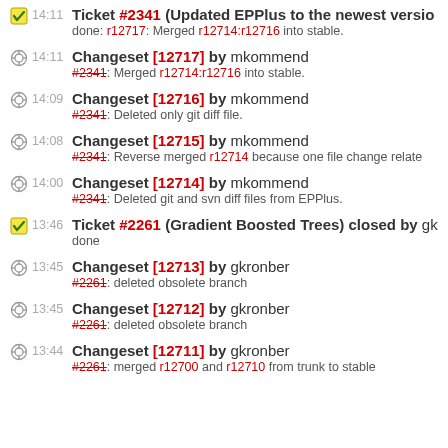14:11 Ticket #2341 (Updated EPPlus to the newest version) done: r12717: Merged r12714:r12716 into stable.
14:11 Changeset [12717] by mkommend #2341: Merged r12714:r12716 into stable.
14:09 Changeset [12716] by mkommend #2341: Deleted only git diff file.
14:08 Changeset [12715] by mkommend #2341: Reverse merged r12714 because one file change relat…
14:00 Changeset [12714] by mkommend #2341: Deleted git and svn diff files from EPPlus.
13:46 Ticket #2261 (Gradient Boosted Trees) closed by gk done
13:45 Changeset [12713] by gkronber #2261: deleted obsolete branch
13:45 Changeset [12712] by gkronber #2261: deleted obsolete branch
13:44 Changeset [12711] by gkronber #2261: merged r12700 and r12710 from trunk to stable